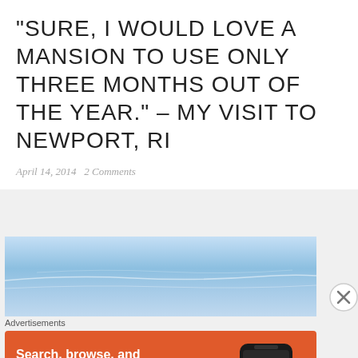“SURE, I WOULD LOVE A MANSION TO USE ONLY THREE MONTHS OUT OF THE YEAR.” – MY VISIT TO NEWPORT, RI
April 14, 2014   2 Comments
[Figure (photo): Sky photo with light blue gradient and faint wispy clouds]
Advertisements
[Figure (illustration): DuckDuckGo advertisement banner with orange background, text: Search, browse, and email with more privacy. All in One Free App. Shows a smartphone with DuckDuckGo logo.]